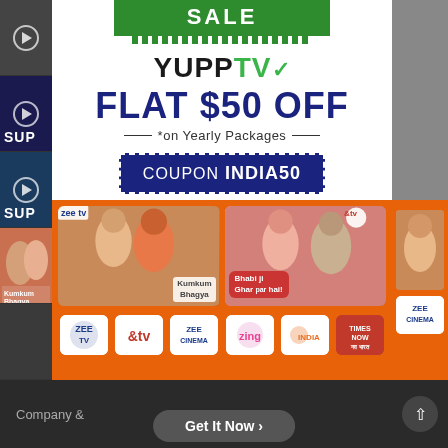[Figure (screenshot): YuppTV sale advertisement showing FLAT $50 OFF on Yearly Packages with coupon code INDIA50, featuring Zee TV and &TV channel shows and logos]
SALE
YUPPTV
FLAT $50 OFF
*on Yearly Packages
COUPON INDIA50
Kumkum Bhagya
Bhabi ji Ghar par hai!
ZEE TV
&tv
ZEE CINEMA
zing
INDIA
TIMES NOW
Company &
Get It Now